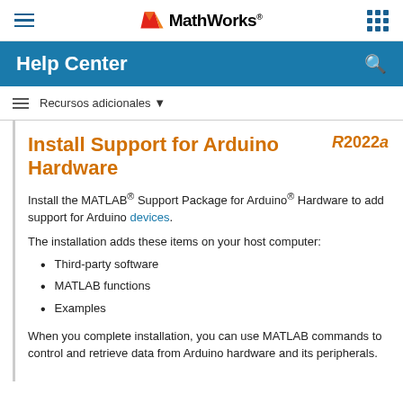MathWorks Help Center
Recursos adicionales
Install Support for Arduino Hardware
Install the MATLAB® Support Package for Arduino® Hardware to add support for Arduino devices.
The installation adds these items on your host computer:
Third-party software
MATLAB functions
Examples
When you complete installation, you can use MATLAB commands to control and retrieve data from Arduino hardware and its peripherals.